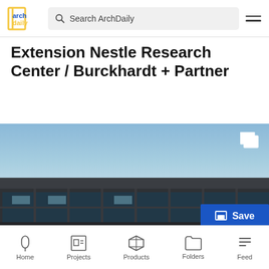Search ArchDaily
Extension Nestle Research Center / Burckhardt + Partner
[Figure (photo): Exterior photograph of the Nestle Research Center extension building showing glass facade with steel frame structure under a blue sky]
Home  Projects  Products  Folders  Feed